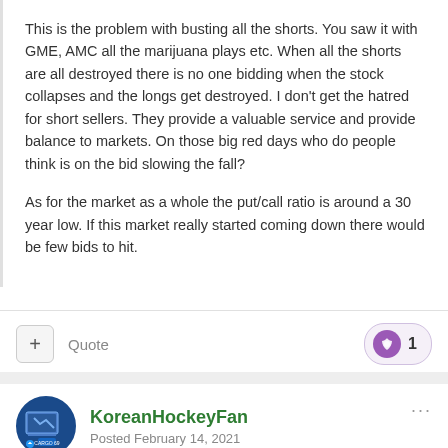This is the problem with busting all the shorts. You saw it with GME, AMC all the marijuana plays etc. When all the shorts are all destroyed there is no one bidding when the stock collapses and the longs get destroyed. I don't get the hatred for short sellers. They provide a valuable service and provide balance to markets. On those big red days who do people think is on the bid slowing the fall?

As for the market as a whole the put/call ratio is around a 30 year low. If this market really started coming down there would be few bids to hit.
Quote
1
KoreanHockeyFan
Posted February 14, 2021